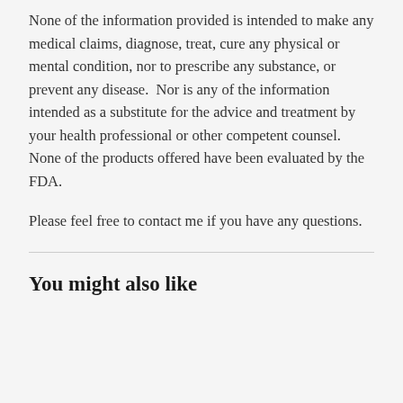None of the information provided is intended to make any medical claims, diagnose, treat, cure any physical or mental condition, nor to prescribe any substance, or prevent any disease.  Nor is any of the information intended as a substitute for the advice and treatment by your health professional or other competent counsel. None of the products offered have been evaluated by the FDA.
Please feel free to contact me if you have any questions.
You might also like